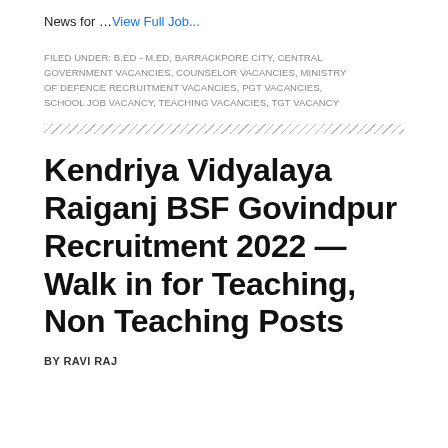News for …View Full Job…
FILED UNDER: B.ED - M.ED, BARRACKPORE CITY, CENTRAL GOVERNMENT VACANCIES, COUNSELOR VACANCIES, MINISTRY OF DEFENCE RECRUITMENT VACANCIES, PGT VACANCIES, SCHOOL JOB VACANCY, TEACHING VACANCIES, TGT VACANCY
Kendriya Vidyalaya Raiganj BSF Govindpur Recruitment 2022 — Walk in for Teaching, Non Teaching Posts
BY RAVI RAJ